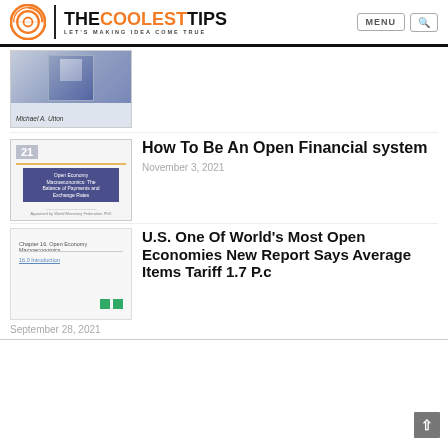THE COOLEST TIPS — Let's Making Idea Come True | MENU | Search
[Figure (photo): Book cover thumbnail with blue tones, author Michael A. Utton]
[Figure (photo): Slide thumbnail for Open Economy Macroeconomics with number 21 and dark blue box]
How To Be An Open Financial system
November 3, 2021
[Figure (screenshot): Chapter 16 Open Economy Macroeconomics slide with link and two green squares]
U.S. One Of World's Most Open Economies New Report Says Average Items Tariff 1.7 P.c
September 28, 2021